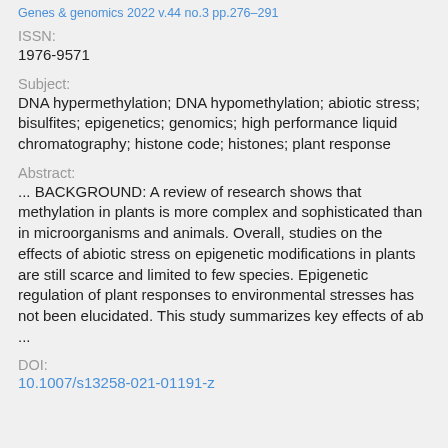Genes & genomics 2022 v.44 no.3 pp.276-291
ISSN:
1976-9571
Subject:
DNA hypermethylation; DNA hypomethylation; abiotic stress; bisulfites; epigenetics; genomics; high performance liquid chromatography; histone code; histones; plant response
Abstract:
... BACKGROUND: A review of research shows that methylation in plants is more complex and sophisticated than in microorganisms and animals. Overall, studies on the effects of abiotic stress on epigenetic modifications in plants are still scarce and limited to few species. Epigenetic regulation of plant responses to environmental stresses has not been elucidated. This study summarizes key effects of ab ...
DOI:
10.1007/s13258-021-01191-z